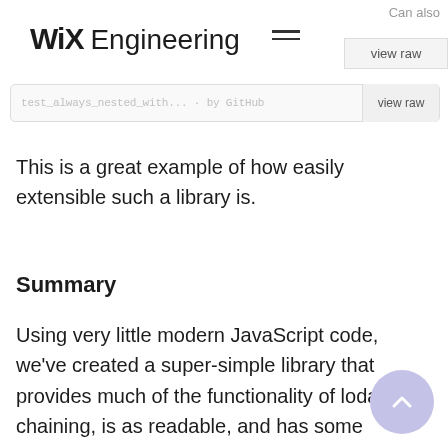WiX Engineering
[Figure (screenshot): Partial code file bar with greyed-out text and 'view raw' button on the right]
This is a great example of how easily extensible such a library is.
Summary
Using very little modern JavaScript code, we've created a super-simple library that provides much of the functionality of lodash chaining, is as readable, and has some notable advantages over that excellent library. Indeed, once pipelining